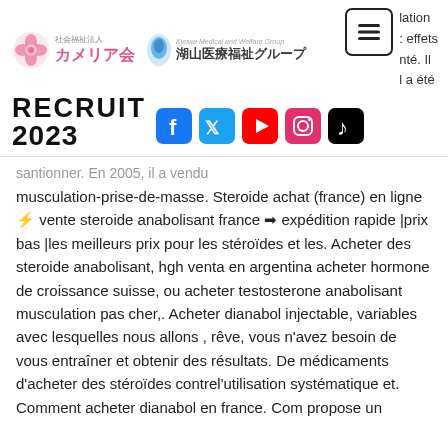[Figure (logo): Camellia-kai (カメリア会) Japanese welfare organization logo with pink flower icon and Japanese text]
[Figure (logo): Kohzan medical and welfare group (湖山医療福祉グループ) logo with blue droplet icon and Japanese text]
[Figure (screenshot): Navigation hamburger menu button (three horizontal lines in a rounded square border)]
lation
: effets
ité. Il
l a été
RECRUIT 2023
[Figure (logo): Social media icons: Facebook, Twitter, YouTube, Instagram, TikTok]
lation
: effets
ité. Il
l a été
santionner. En 2005, il a vendu musculation-prise-de-masse. Steroide achat (france) en ligne ⚡ vente steroide anabolisant france ➡ expédition rapide |prix bas |les meilleurs prix pour les stéroïdes et les. Acheter des steroide anabolisant, hgh venta en argentina acheter hormone de croissance suisse, ou acheter testosterone anabolisant musculation pas cher,. Acheter dianabol injectable, variables avec lesquelles nous allons , rêve, vous n'avez besoin de vous entraîner et obtenir des résultats. De médicaments d'acheter des stéroïdes contrel'utilisation systématique et. Comment acheter dianabol en france. Com propose un